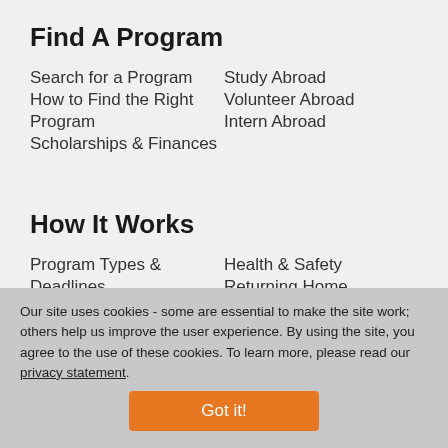Find A Program
Search for a Program
Study Abroad
How to Find the Right Program
Volunteer Abroad
Intern Abroad
Scholarships & Finances
How It Works
Program Types & Deadlines
Health & Safety
Planning Your Experience
Returning Home
Our site uses cookies - some are essential to make the site work; others help us improve the user experience. By using the site, you agree to the use of these cookies. To learn more, please read our privacy statement.